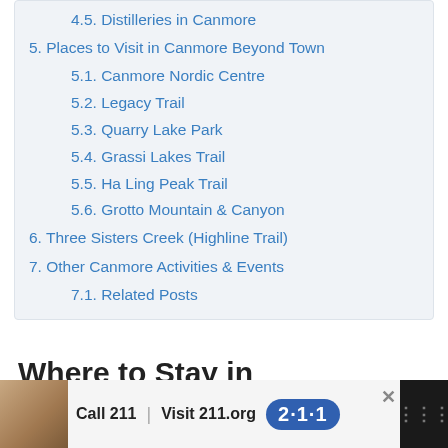4.5. Distilleries in Canmore
5. Places to Visit in Canmore Beyond Town
5.1. Canmore Nordic Centre
5.2. Legacy Trail
5.3. Quarry Lake Park
5.4. Grassi Lakes Trail
5.5. Ha Ling Peak Trail
5.6. Grotto Mountain & Canyon
6. Three Sisters Creek (Highline Trail)
7. Other Canmore Activities & Events
7.1. Related Posts
Where to Stay in